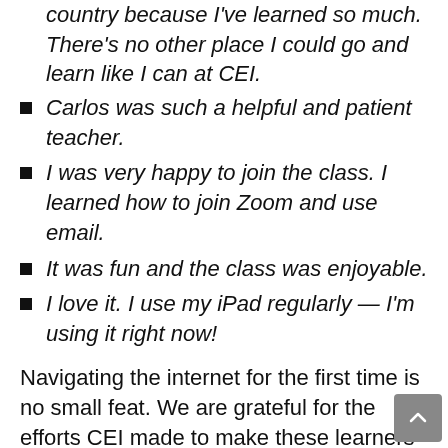country because I've learned so much. There's no other place I could go and learn like I can at CEI.
Carlos was such a helpful and patient teacher.
I was very happy to join the class. I learned how to join Zoom and use email.
It was fun and the class was enjoyable.
I love it. I use my iPad regularly — I'm using it right now!
Navigating the internet for the first time is no small feat. We are grateful for the efforts CEI made to make these learners feel accomplished in their hard work and success. Check out